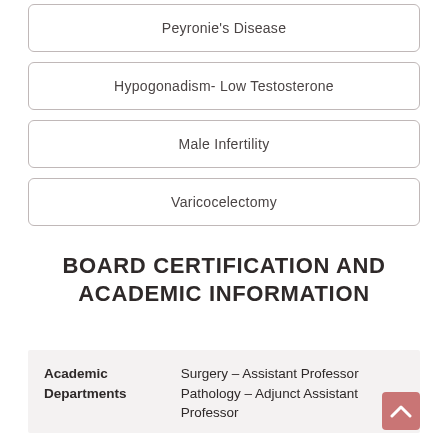Peyronie's Disease
Hypogonadism- Low Testosterone
Male Infertility
Varicocelectomy
BOARD CERTIFICATION AND ACADEMIC INFORMATION
| Academic Departments |  |
| --- | --- |
|  | Surgery – Assistant Professor
Pathology – Adjunct Assistant Professor |